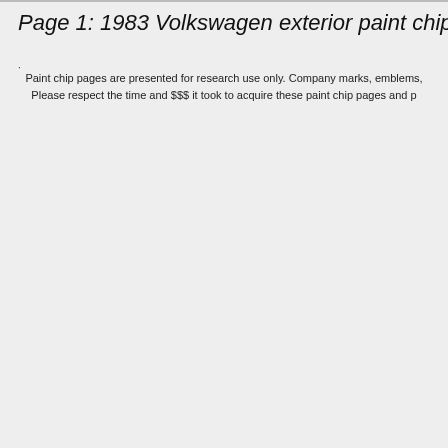Page 1: 1983 Volkswagen exterior paint chips (next page)  A
Paint chip pages are presented for research use only. Company marks, emblems, Please respect the time and $$$ it took to acquire these paint chip pages and p